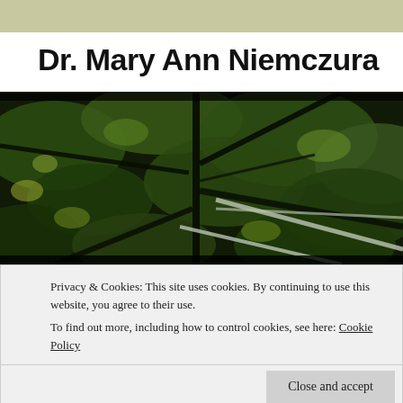Dr. Mary Ann Niemczura
[Figure (photo): Close-up photo of tree branches and leaves with a dark, moody, high-contrast look showing gnarled branches against dense green foliage.]
Privacy & Cookies: This site uses cookies. By continuing to use this website, you agree to their use.
To find out more, including how to control cookies, see here: Cookie Policy
Bittersweet Moments